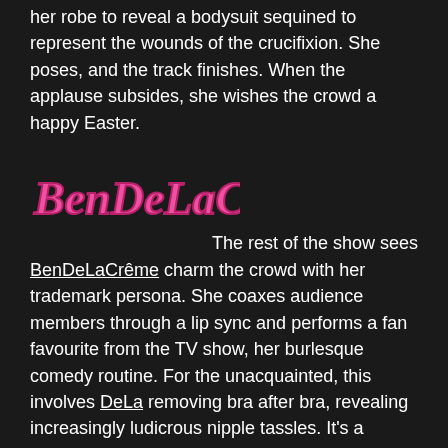her robe to reveal a bodysuit sequined to represent the wounds of the crucifixion. She poses, and the track finishes. When the applause subsides, she wishes the crowd a happy Easter.
[Figure (logo): BenDeLaCreme logo in pink cursive/script font with dark pink outline]
The rest of the show sees BenDeLaCrême charm the crowd with her trademark persona. She coaxes audience members through a lip sync and performs a fan favourite from the TV show, her burlesque comedy routine. For the unacquainted, this involves DeLa removing bra after bra, revealing increasingly ludicrous nipple tassles. It's a crowdpleaser, although it doesn't have the same impact as her original material.
The next day, I caught up with performer Paul Aleksandr to get his take on the evening: